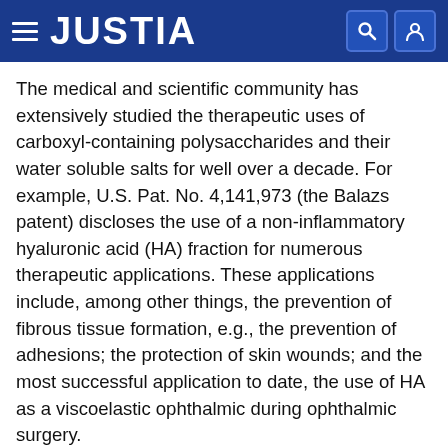JUSTIA
The medical and scientific community has extensively studied the therapeutic uses of carboxyl-containing polysaccharides and their water soluble salts for well over a decade. For example, U.S. Pat. No. 4,141,973 (the Balazs patent) discloses the use of a non-inflammatory hyaluronic acid (HA) fraction for numerous therapeutic applications. These applications include, among other things, the prevention of fibrous tissue formation, e.g., the prevention of adhesions; the protection of skin wounds; and the most successful application to date, the use of HA as a viscoelastic ophthalmic during ophthalmic surgery.
The prevention or reduction of adhesion formation following surgery requires a therapeutic agent which has an acceptable half life in bodily tissue. HA, in the free acid form, or as its salt (sodium, potassium, etc.) is